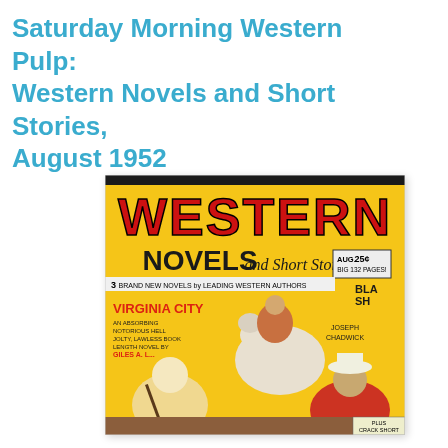Saturday Morning Western Pulp: Western Novels and Short Stories, August 1952
[Figure (photo): Magazine cover of 'Western Novels and Short Stories' August 1952. Cover features large red block letters spelling WESTERN at top, then NOVELS and Short Stories below. Shows action scene with cowboys, a white horse, a blonde woman with a rifle, and a cowboy in red shirt and white hat. Text includes: 3 BRAND NEW NOVELS by LEADING WESTERN AUTHORS, VIRGINIA CITY, 25¢, BIG 132 PAGES!, JOSEPH CHADWICK, PLUS CRACK SHORT FICTION.]